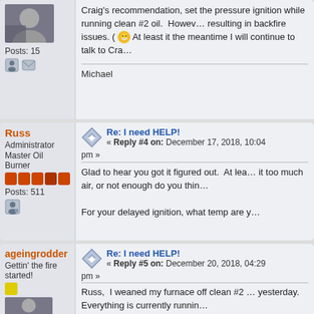[Figure (screenshot): Forum thread screenshot showing three posts: a partial post at top, a post by 'Russ' (Administrator, Master Oil Burner, Posts: 511) with reply #4, and a post by 'ageingrodder' (Gettin' the fire started!) with reply #5.]
Craig's recommendation, set the pressure ignition while running clean #2 oil. However, resulting in backfire issues. ( At least it the meantime I will continue to talk to Cra
Michael
Russ
Administrator
Master Oil Burner
Posts: 511
Re: I need HELP!
« Reply #4 on: December 17, 2018, 10:04 pm »
Glad to hear you got it figured out. At least it too much air, or not enough do you think
For your delayed ignition, what temp are y
ageingrodder
Gettin' the fire started!
Re: I need HELP!
« Reply #5 on: December 20, 2018, 04:29 pm »
Russ,  I weaned my furnace off clean #2 yesterday. Everything is currently runnin